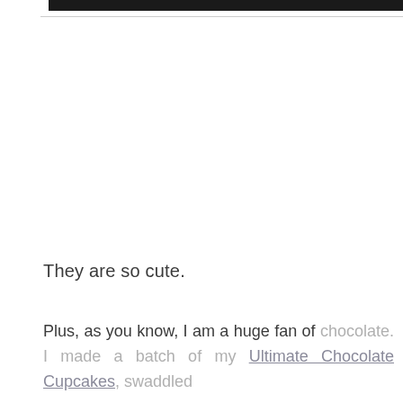[Figure (other): Black bar at top of page, partial image cropped]
They are so cute.
Plus, as you know, I am a huge fan of chocolate. I made a batch of my Ultimate Chocolate Cupcakes, swaddled